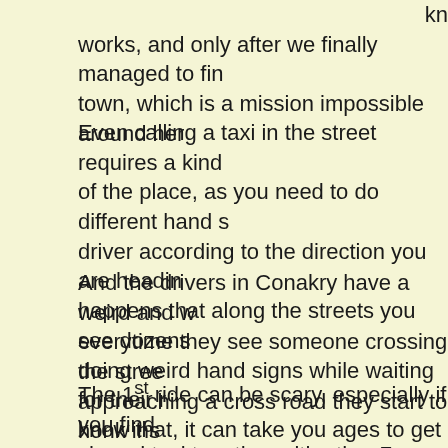kn works, and only after we finally managed to fin town, which is a mission impossible around her
Even calling a taxi in the street requires a kind of the place, as you need to do different hand s driver according to the direction you are headin happens that along the streets you see dozens doing weird hand signs while waiting for their r know that, it can take you ages to get the right wherever you want to go to town.
And the drivers in Conakry have a weird and w everytime they see someone crossing the stree approaching a cross road they start to honk ins down.
The 1st ride can be scary, especially if you find shared taxi together with other 7 people, but a will easily get used to it.
As s arrive you s